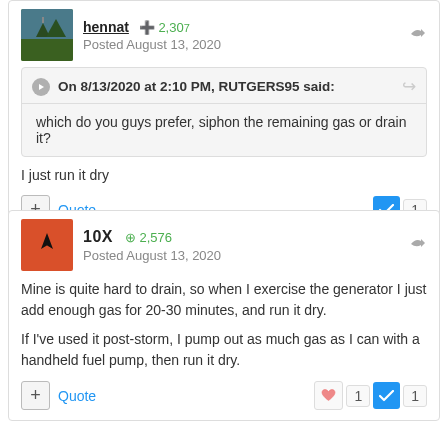[Figure (photo): User avatar thumbnail showing landscape/nature scene (green tones)]
Posted August 13, 2020
On 8/13/2020 at 2:10 PM, RUTGERS95 said:
which do you guys prefer, siphon the remaining gas or drain it?
I just run it dry
+ Quote
✓ 1
[Figure (photo): User avatar with red/orange background and black cursor/arrow icon]
10X ⊕ 2,576
Posted August 13, 2020
Mine is quite hard to drain, so when I exercise the generator I just add enough gas for 20-30 minutes, and run it dry.

If I've used it post-storm, I pump out as much gas as I can with a handheld fuel pump, then run it dry.
+ Quote